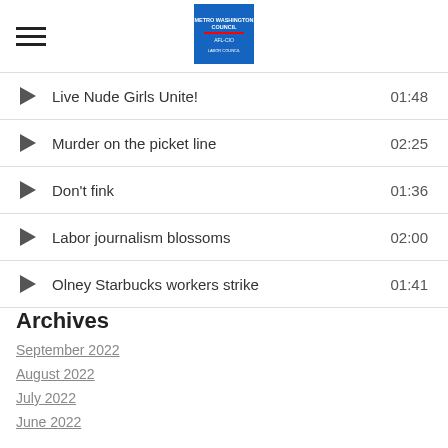Metro Washington Council AFL-CIO [logo]
Live Nude Girls Unite! 01:48
Murder on the picket line 02:25
Don't fink 01:36
Labor journalism blossoms 02:00
Olney Starbucks workers strike 01:41
Archives
September 2022
August 2022
July 2022
June 2022
May 2022
April 2022
March 2022